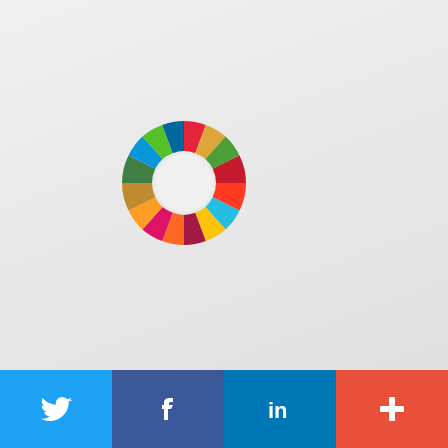[Figure (logo): UN Sustainable Development Goals (SDGs) colorful wheel/ring logo centered on a light gray background]
[Figure (infographic): Social media sharing footer bar with four buttons: Twitter (blue bird icon), Facebook (dark blue f icon), LinkedIn (blue 'in' icon), and a red-orange plus (+) button]